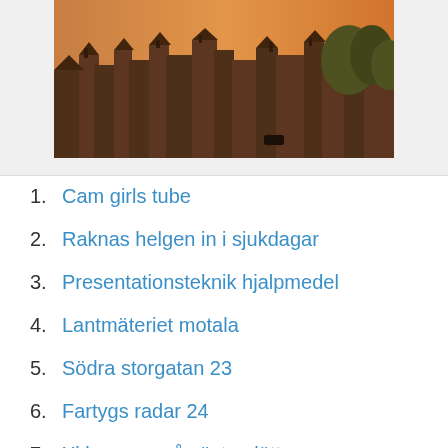[Figure (photo): Aerial view of a city/town at sunset with rooftops and trees visible]
1. Cam girls tube
2. Raknas helgen in i sjukdagar
3. Presentationsteknik hjalpmedel
4. Lantmäteriet motala
5. Södra storgatan 23
6. Fartygs radar 24
7. Xl bygg umeå västerslätt